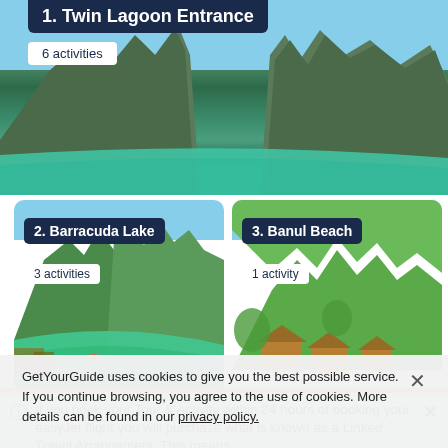[Figure (photo): Aerial view of Twin Lagoon Entrance with dramatic limestone karst cliffs, turquoise water, and lush green vegetation under a blue sky]
1. Twin Lagoon Entrance
6 activities
[Figure (photo): Barracuda Lake with green tropical vegetation, turquoise water, people kayaking, and wooden structures along the shore]
2. Barracuda Lake
3 activities
[Figure (photo): Banul Beach with lush green tropical trees and traditional wooden beach huts/pavilions]
3. Banul Beach
1 activity
If you book your Tour & Activity within 24 hours of booking your easyJet flight you will purchase what is known as a Linked Travel Arrangement. This means
GetYourGuide uses cookies to give you the best possible service. If you continue browsing, you agree to the use of cookies. More details can be found in our privacy policy.